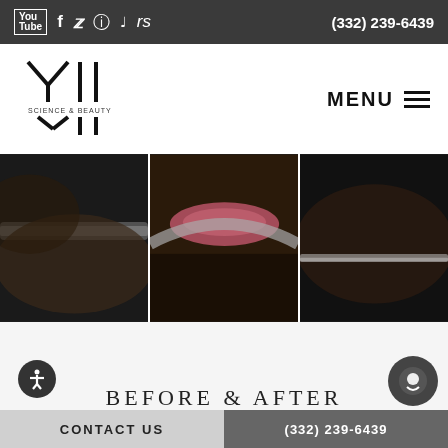YouTube Facebook Twitter Instagram TikTok rs   (332) 239-6439
[Figure (logo): YII Science & Beauty logo with stylized letters]
MENU ☰
[Figure (photo): Three side-by-side close-up panels showing a cosmetic lip treatment procedure with a tool/device near the lips, dark background]
BEFORE & AFTER
CONTACT US   (332) 239-6439